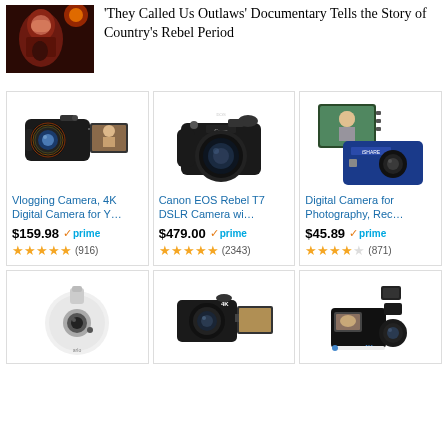[Figure (photo): Article thumbnail showing a performer on stage with red/dark background]
'They Called Us Outlaws' Documentary Tells the Story of Country's Rebel Period
[Figure (photo): Vlogging Camera 4K Digital Camera product image]
Vlogging Camera, 4K Digital Camera for Y…
$159.98 ✓prime ★★★★★ (916)
[Figure (photo): Canon EOS Rebel T7 DSLR Camera product image]
Canon EOS Rebel T7 DSLR Camera wi…
$479.00 ✓prime ★★★★★ (2343)
[Figure (photo): iShare Digital Camera for Photography product image]
Digital Camera for Photography, Rec…
$45.89 ✓prime ★★★★☆ (871)
[Figure (photo): Arlo security camera white round product image]
[Figure (photo): 4K digital camera black with flip screen product image]
[Figure (photo): 4K digital camera set with accessories product image]